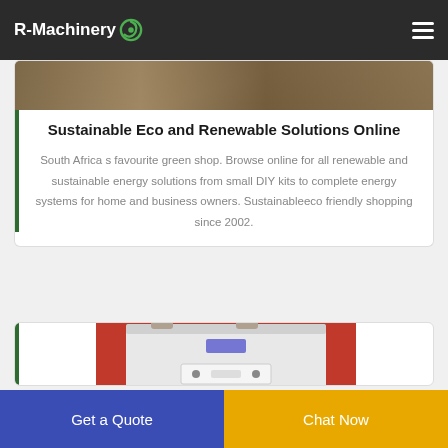R-Machinery
[Figure (photo): Top portion of a product/landscape image, partially visible at the top of the first card]
Sustainable Eco and Renewable Solutions Online
South Africa s favourite green shop. Browse online for all renewable and sustainable energy solutions from small DIY kits to complete energy systems for home and business owners. Sustainableeco friendly shopping since 2002.
[Figure (photo): Industrial machinery photo showing a white machine with pipes/ducts, visible in the second card]
Get a Quote
Chat Now